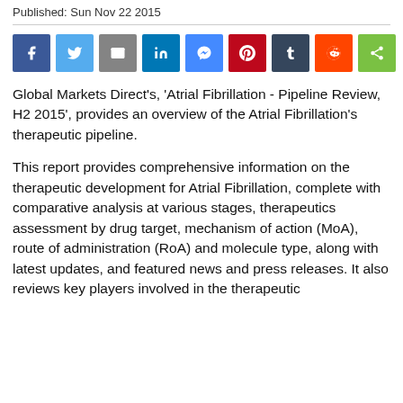Published: Sun Nov 22 2015
[Figure (infographic): Social sharing buttons row: Facebook, Twitter, Email, LinkedIn, Messenger, Pinterest, Tumblr, Reddit, ShareThis]
Global Markets Direct's, 'Atrial Fibrillation - Pipeline Review, H2 2015', provides an overview of the Atrial Fibrillation's therapeutic pipeline.
This report provides comprehensive information on the therapeutic development for Atrial Fibrillation, complete with comparative analysis at various stages, therapeutics assessment by drug target, mechanism of action (MoA), route of administration (RoA) and molecule type, along with latest updates, and featured news and press releases. It also reviews key players involved in the therapeutic